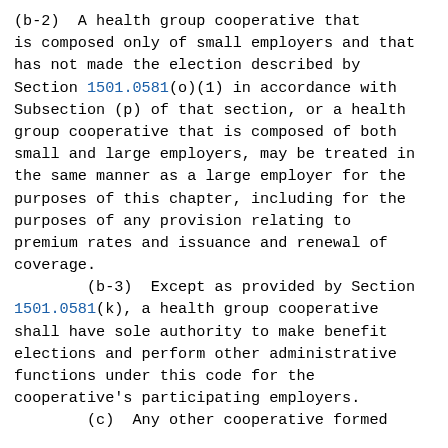(b-2)  A health group cooperative that is composed only of small employers and that has not made the election described by Section 1501.0581(o)(1) in accordance with Subsection (p) of that section, or a health group cooperative that is composed of both small and large employers, may be treated in the same manner as a large employer for the purposes of this chapter, including for the purposes of any provision relating to premium rates and issuance and renewal of coverage.
        (b-3)  Except as provided by Section 1501.0581(k), a health group cooperative shall have sole authority to make benefit elections and perform other administrative functions under this code for the cooperative's participating employers.
        (c)  Any other cooperative formed